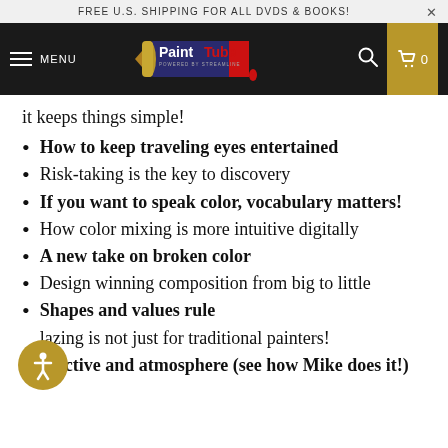FREE U.S. SHIPPING FOR ALL DVDS & BOOKS!
[Figure (logo): PaintTube logo — paint tube graphic with 'PaintTube' text on dark background, navigation bar with MENU, search icon, and cart showing 0]
it keeps things simple!
How to keep traveling eyes entertained
Risk-taking is the key to discovery
If you want to speak color, vocabulary matters!
How color mixing is more intuitive digitally
A new take on broken color
Design winning composition from big to little
Shapes and values rule
Glazing is not just for traditional painters!
Perspective and atmosphere (see how Mike does it!)